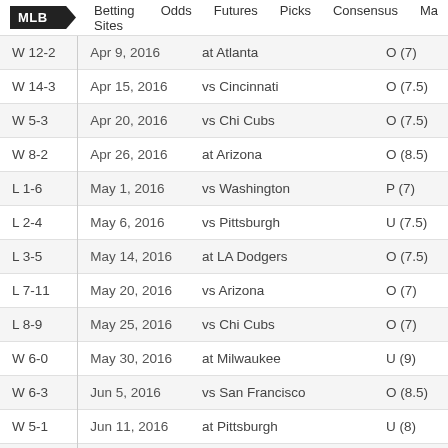MLB  Betting Sites  Odds  Futures  Picks  Consensus  Ma
| Result | Date | Matchup | Consensus |
| --- | --- | --- | --- |
| W 12-2 | Apr 9, 2016 | at Atlanta | O (7) |
| W 14-3 | Apr 15, 2016 | vs Cincinnati | O (7.5) |
| W 5-3 | Apr 20, 2016 | vs Chi Cubs | O (7.5) |
| W 8-2 | Apr 26, 2016 | at Arizona | O (8.5) |
| L 1-6 | May 1, 2016 | vs Washington | P (7) |
| L 2-4 | May 6, 2016 | vs Pittsburgh | U (7.5) |
| L 3-5 | May 14, 2016 | at LA Dodgers | O (7.5) |
| L 7-11 | May 20, 2016 | vs Arizona | O (7) |
| L 8-9 | May 25, 2016 | vs Chi Cubs | O (7) |
| W 6-0 | May 30, 2016 | at Milwaukee | U (9) |
| W 6-3 | Jun 5, 2016 | vs San Francisco | O (8.5) |
| W 5-1 | Jun 11, 2016 | at Pittsburgh | U (8) |
| L 3-4 | Jun 18, 2016 | vs Texas | U (8.5) |